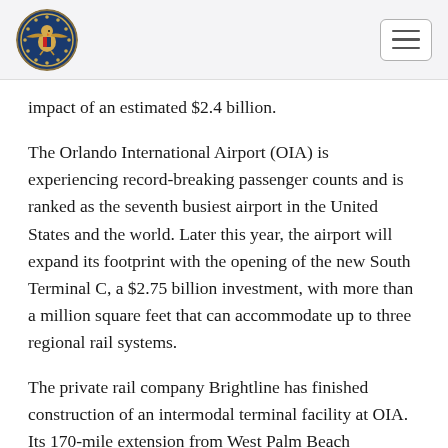[Government seal logo] [Navigation menu button]
impact of an estimated $2.4 billion.
The Orlando International Airport (OIA) is experiencing record-breaking passenger counts and is ranked as the seventh busiest airport in the United States and the world. Later this year, the airport will expand its footprint with the opening of the new South Terminal C, a $2.75 billion investment, with more than a million square feet that can accommodate up to three regional rail systems.
The private rail company Brightline has finished construction of an intermodal terminal facility at OIA. Its 170-mile extension from West Palm Beach